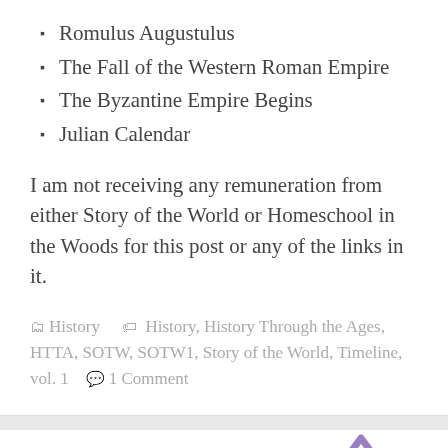Romulus Augustulus
The Fall of the Western Roman Empire
The Byzantine Empire Begins
Julian Calendar
I am not receiving any remuneration from either Story of the World or Homeschool in the Woods for this post or any of the links in it.
History  History, History Through the Ages, HTTA, SOTW, SOTW1, Story of the World, Timeline, vol. 1  1 Comment
Albert Einstein